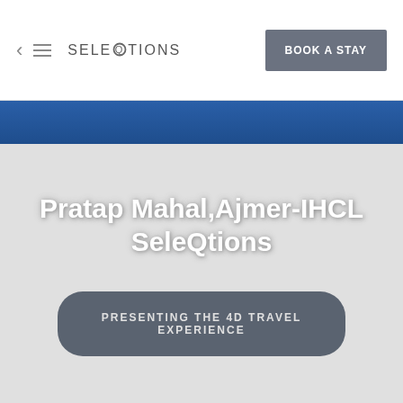SELEQTIONS  |  BOOK A STAY
Pratap Mahal,Ajmer-IHCL SeleQtions
PRESENTING THE 4D TRAVEL EXPERIENCE